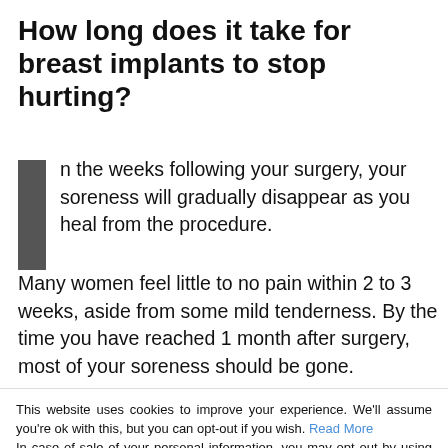How long does it take for breast implants to stop hurting?
In the weeks following your surgery, your soreness will gradually disappear as you heal from the procedure. Many women feel little to no pain within 2 to 3 weeks, aside from some mild tenderness. By the time you have reached 1 month after surgery, most of your soreness should be gone.
Is it normal to have sharp pains after breast augmentation?
Shooting pains are being felt around out nipples
Other common pains may appear in the chest and b... throughout the...
Generally, chest muscle spasms are expected to occur...
This website uses cookies to improve your experience. We'll assume you're ok with this, but you can opt-out if you wish. Read More
In case of sale of your personal information, you may opt out by using the link Do Not Sell My Personal Information